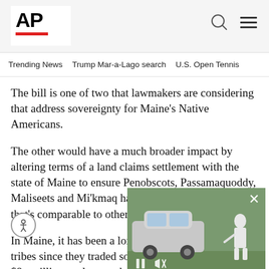AP
Trending News   Trump Mar-a-Lago search   U.S. Open Tennis
The bill is one of two that lawmakers are considering that address sovereignty for Maine's Native Americans.
The other would have a much broader impact by altering terms of a land claims settlement with the state of Maine to ensure Penobscots, Passamaquoddy, Maliseets and Mi'kmaq have control over their land that's comparable to other tribes in the U
In Maine, it has been a long, frustr... tribes since they traded some right... $8... million settlement that was s... J... Carter in 1980.
[Figure (screenshot): Video overlay showing a car and figure in a green outdoor setting, with playback controls and a close (x) button]
That settlement for the P...